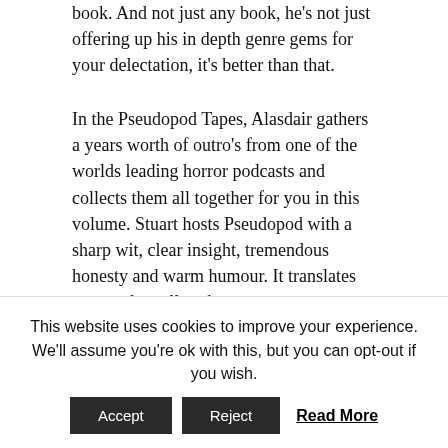book. And not just any book, he's not just offering up his in depth genre gems for your delectation, it's better than that.
In the Pseudopod Tapes, Alasdair gathers a years worth of outro's from one of the worlds leading horror podcasts and collects them all together for you in this volume. Stuart hosts Pseudopod with a sharp wit, clear insight, tremendous honesty and warm humour. It translates extremely well to the page.
'Alasdair Stuart, host of the must listen Pesudopod just became a must read!' -Steven Savile
This website uses cookies to improve your experience. We'll assume you're ok with this, but you can opt-out if you wish.
Accept | Reject | Read More